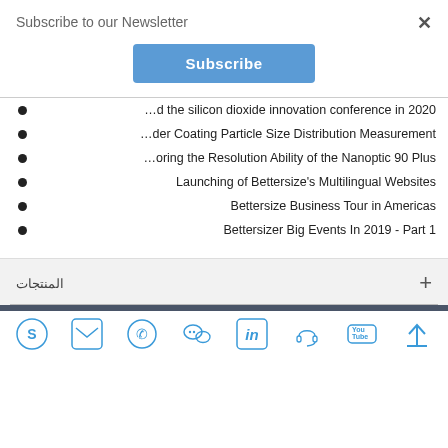Subscribe to our Newsletter
Subscribe
…d the silicon dioxide innovation conference in 2020
…der Coating Particle Size Distribution Measurement
…oring the Resolution Ability of the Nanoptic 90 Plus
Launching of Bettersize's Multilingual Websites
Bettersize Business Tour in Americas
Bettersizer Big Events In 2019 - Part 1
المنتجات
[Figure (other): Social media icons bar: Skype, Email, Phone, WeChat, LinkedIn, Headset/Support, YouTube, Back-to-top arrow]